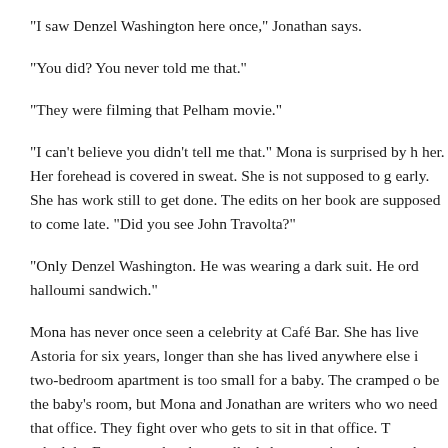“I saw Denzel Washington here once,” Jonathan says.
“You did? You never told me that.”
“They were filming that Pelham movie.”
“I can’t believe you didn’t tell me that.” Mona is surprised by h her. Her forehead is covered in sweat. She is not supposed to g early. She has work still to get done. The edits on her book are supposed to come late. “Did you see John Travolta?”
“Only Denzel Washington. He was wearing a dark suit. He ord halloumi sandwich.”
Mona has never once seen a celebrity at Café Bar. She has live Astoria for six years, longer than she has lived anywhere else i two-bedroom apartment is too small for a baby. The cramped o be the baby’s room, but Mona and Jonathan are writers who wo need that office. They fight over who gets to sit in that office. T schedule. For years, they have talked about moving, but someh They don’t have enough money.
When Mona tells people that she lives in Astoria, she is surpris